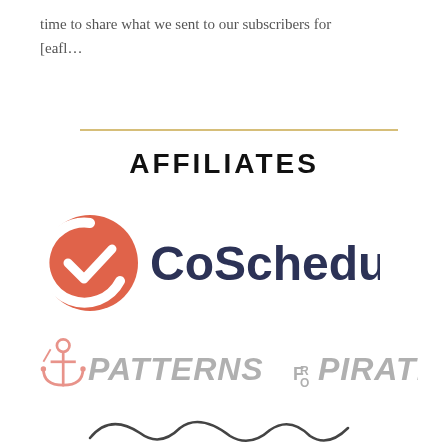time to share what we sent to our subscribers for [eafl…
[Figure (other): Horizontal gold/tan divider line]
AFFILIATES
[Figure (logo): CoSchedule logo — orange circular checkmark icon followed by dark navy text 'CoSchedule']
[Figure (logo): Patterns for Pirates logo — anchor icon with italic text 'PATTERNS FOR PIRATES' in light gray]
[Figure (logo): Partial cursive/script logo at bottom, cut off]